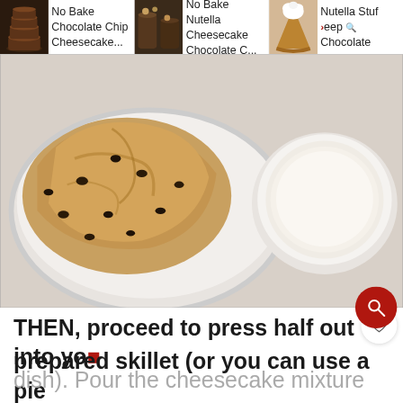No Bake Chocolate Chip Cheesecake... | No Bake Nutella Cheesecake Chocolate C... | Nutella Stuffed Deep Dish Chocolate
[Figure (photo): Overhead view of a white mixing bowl containing chocolate chip cookie dough and a smaller white bowl with cream/cheesecake mixture, on a light surface]
1,661
THEN, proceed to press half out into your prepared skillet (or you can use a pie dish). Pour the cheesecake mixture over